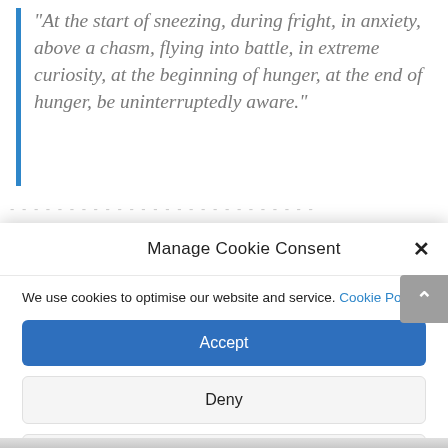“At the start of sneezing, during fright, in anxiety, above a chasm, flying into battle, in extreme curiosity, at the beginning of hunger, at the end of hunger, be uninterruptedly aware.”
Manage Cookie Consent
We use cookies to optimise our website and service. Cookie Policy
Accept
Deny
View preferences